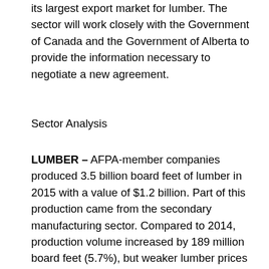its largest export market for lumber. The sector will work closely with the Government of Canada and the Government of Alberta to provide the information necessary to negotiate a new agreement.
Sector Analysis
LUMBER – AFPA-member companies produced 3.5 billion board feet of lumber in 2015 with a value of $1.2 billion. Part of this production came from the secondary manufacturing sector. Compared to 2014, production volume increased by 189 million board feet (5.7%), but weaker lumber prices caused values to decline by $66 million or 5%.